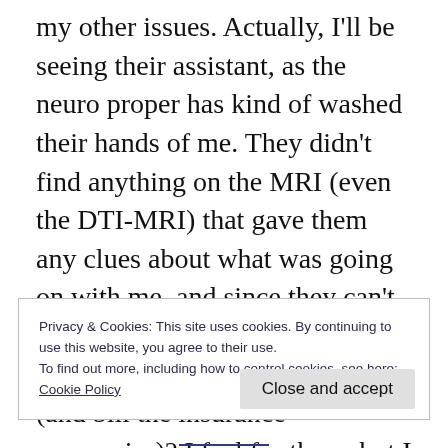my other issues. Actually, I'll be seeing their assistant, as the neuro proper has kind of washed their hands of me. They didn't find anything on the MRI (even the DTI-MRI) that gave them any clues about what was going on with me, and since they can't diagnose me with anything, how are they supposed to treat me (and bill the insurance companies)? I feel for them, but I don't appreciate being pushed aside.
Privacy & Cookies: This site uses cookies. By continuing to use this website, you agree to their use.
To find out more, including how to control cookies, see here:
Cookie Policy
Close and accept
(partially visible bottom text)